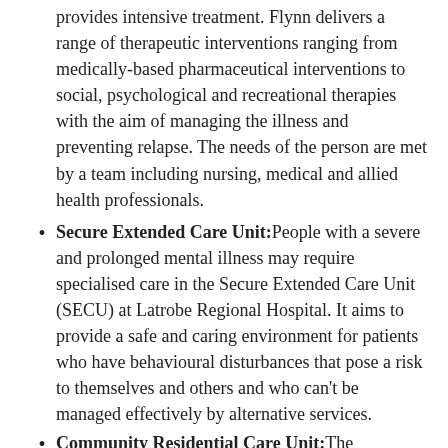provides intensive treatment. Flynn delivers a range of therapeutic interventions ranging from medically-based pharmaceutical interventions to social, psychological and recreational therapies with the aim of managing the illness and preventing relapse. The needs of the person are met by a team including nursing, medical and allied health professionals.
Secure Extended Care Unit: People with a severe and prolonged mental illness may require specialised care in the Secure Extended Care Unit (SECU) at Latrobe Regional Hospital. It aims to provide a safe and caring environment for patients who have behavioural disturbances that pose a risk to themselves and others and who can't be managed effectively by alternative services.
Community Residential Care Unit: The Community Residential Care Unit (CRCU) aims to assist you to develop your skills towards maximum independence by providing a pathway for you to live in the wider community. The CRCU features 14 independent